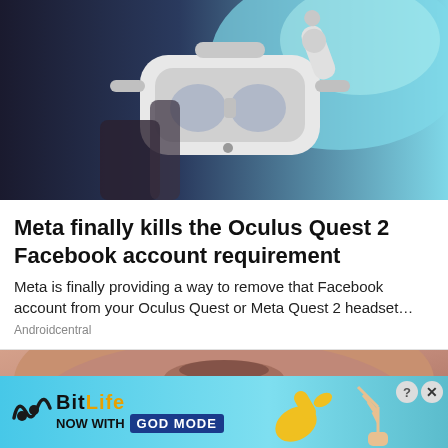[Figure (photo): Person holding a white Oculus Quest 2 VR headset and controller against a light blue/teal background]
Meta finally kills the Oculus Quest 2 Facebook account requirement
Meta is finally providing a way to remove that Facebook account from your Oculus Quest or Meta Quest 2 headset…
Androidcentral
[Figure (photo): Close-up photo of a man's chin and lower face with stubble/beard growth]
[Figure (other): BitLife advertisement banner — NOW WITH GOD MODE — with cartoon hand pointing and wavy logo]